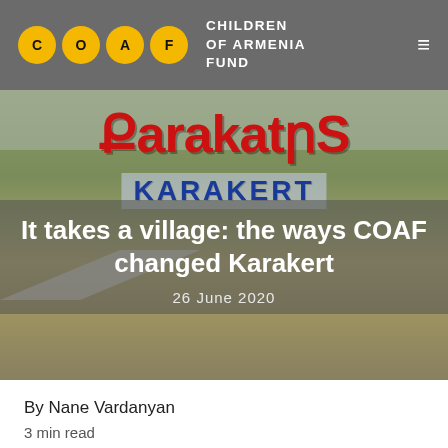COAF CHILDREN OF ARMENIA FUND
[Figure (photo): Outdoor photo of a hillside landscape with a bilingual village sign reading 'Karakert' in Armenian script (red letters) and Latin/English letters (blue), with a road and sparse vegetation visible. Overlaid with article title and date.]
It takes a village: the ways COAF changed Karakert
26 June 2020
By Nane Vardanyan
3 min read